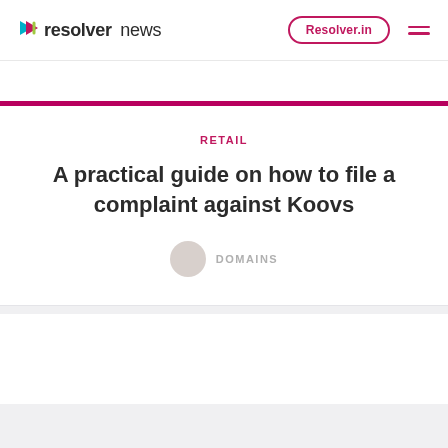resolver news — Resolver.in
RETAIL
A practical guide on how to file a complaint against Koovs
DOMAINS